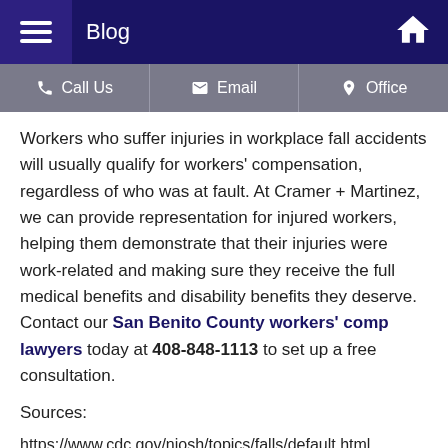Blog
Workers who suffer injuries in workplace fall accidents will usually qualify for workers' compensation, regardless of who was at fault. At Cramer + Martinez, we can provide representation for injured workers, helping them demonstrate that their injuries were work-related and making sure they receive the full medical benefits and disability benefits they deserve. Contact our San Benito County workers' comp lawyers today at 408-848-1113 to set up a free consultation.
Sources:
https://www.cdc.gov/niosh/topics/falls/default.html
https://etraintoday.com/blog/slips-trips-falls-in-the-workplace-5-common-causes/